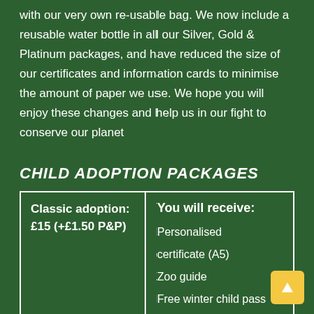with our very own re-usable bag. We now include a reusable water bottle in all our Silver, Gold & Platinum packages, and have reduced the size of our certificates and information cards to minimise the amount of paper we use. We hope you will enjoy these changes and help us in our fight to conserve our planet
CHILD ADOPTION PACKAGES
| Classic adoption: £15 (+£1.50 P&P) | You will receive: |
| --- | --- |
|  | Personalised certificate (A5)
Zoo guide
Free winter child pass |